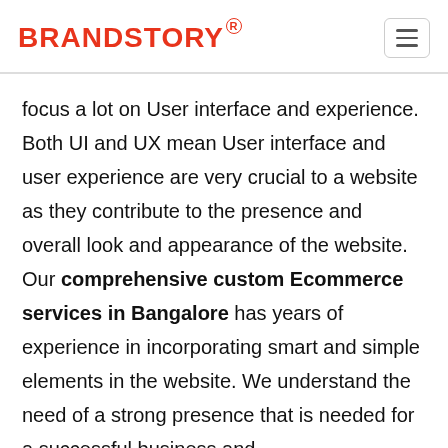BRANDSTORY®
focus a lot on User interface and experience. Both UI and UX mean User interface and user experience are very crucial to a website as they contribute to the presence and overall look and appearance of the website. Our comprehensive custom Ecommerce services in Bangalore has years of experience in incorporating smart and simple elements in the website. We understand the need of a strong presence that is needed for a successful business and